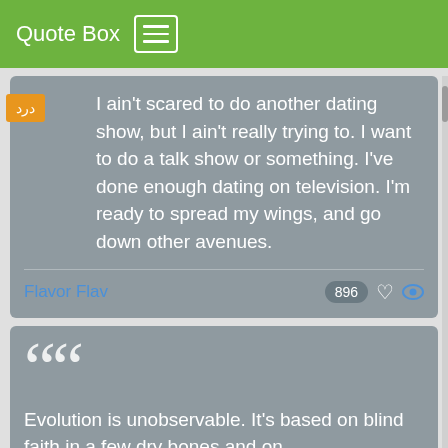Quote Box
I ain't scared to do another dating show, but I ain't really trying to. I want to do a talk show or something. I've done enough dating on television. I'm ready to spread my wings, and go down other avenues.
Flavor Flav
896
Evolution is unobservable. It's based on blind faith in a few dry bones and on